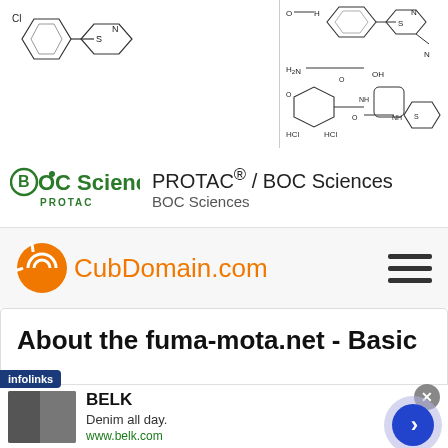[Figure (illustration): Chemical structure diagrams: left panel shows a chlorobenzene-thiazole compound, right panel shows a complex PROTAC molecule with amino chain and HCl salts]
[Figure (logo): BOC Sciences PROTAC logo - green text with circular element]
PROTAC® / BOC Sciences
BOC Sciences
[Figure (logo): CubDomain.com logo with orange spiral icon]
CubDomain.com
About the fuma-mota.net - Basic
[Figure (photo): Advertisement image showing BELK clothing brand with women in denim]
BELK
Denim all day.
www.belk.com